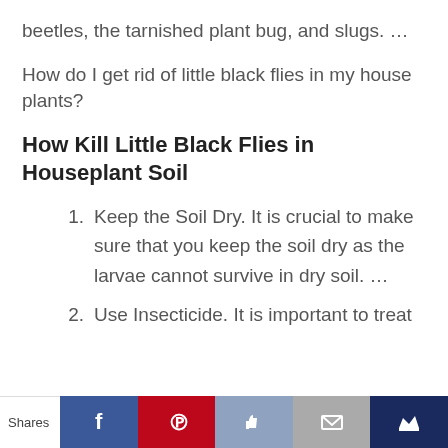beetles, the tarnished plant bug, and slugs. …
How do I get rid of little black flies in my house plants?
How Kill Little Black Flies in Houseplant Soil
Keep the Soil Dry. It is crucial to make sure that you keep the soil dry as the larvae cannot survive in dry soil. …
Use Insecticide. It is important to treat
Shares | Facebook | Pinterest | Like | Mail | Crown